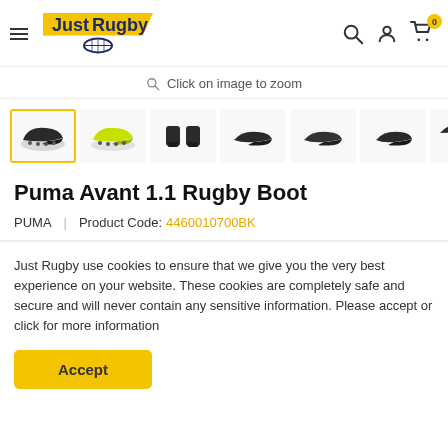JustRugby — navigation header with hamburger menu, logo, search, account, and cart icons
Click on image to zoom
[Figure (photo): Thumbnail strip of Puma Avant 1.1 Rugby Boot product images from multiple angles; first thumbnail (side view, dark boot) is selected with yellow border; other views include yellow-green boots, front/back, and additional side angles]
Puma Avant 1.1 Rugby Boot
PUMA  |  Product Code: 4460010700BK
Just Rugby use cookies to ensure that we give you the very best experience on your website. These cookies are completely safe and secure and will never contain any sensitive information. Please accept or click for more information
Accept